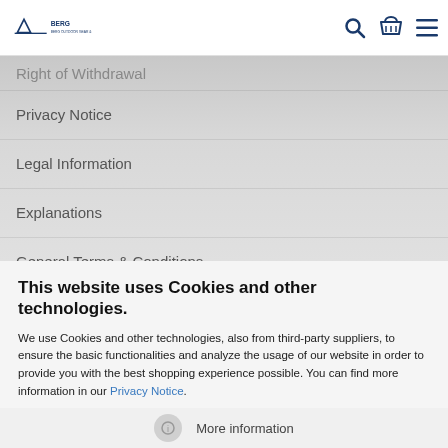[Figure (logo): Berg company logo with mountain icon and text]
[Figure (infographic): Search icon, shopping basket icon, and hamburger menu icon in header]
Right of Withdrawal
Privacy Notice
Legal Information
Explanations
General Terms & Conditions
This website uses Cookies and other technologies.
We use Cookies and other technologies, also from third-party suppliers, to ensure the basic functionalities and analyze the usage of our website in order to provide you with the best shopping experience possible. You can find more information in our Privacy Notice.
Accept all
More information